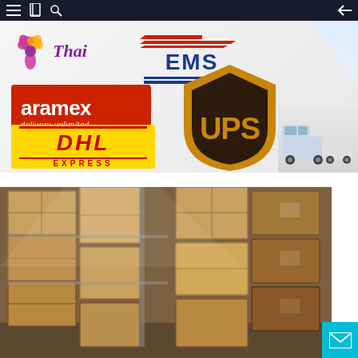[Figure (screenshot): Mobile app top navigation bar with dark background showing hamburger menu, book icon, search icon on left and back arrow on right]
[Figure (illustration): Shipping courier logos collage: Thai Airways logo (purple Frangipani flower with 'Thai' text), EMS logo (red/blue striped with 'EMS' text), Aramex logo (red box with 'aramex delivery unlimited'), UPS shield logo (brown/gold with 'UPS'), DHL Express logo (yellow background with red 'DHL' and 'EXPRESS'), delivery vans in background]
[Figure (photo): Warehouse interior showing large stacked wooden crates on metal shelving racks, brown cardboard/wood boxes piled high]
[Figure (illustration): Teal/cyan email envelope icon button in bottom right corner]